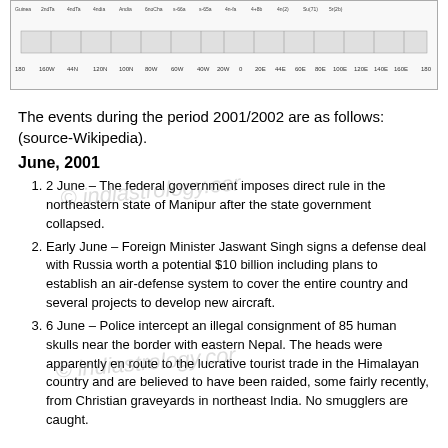[Figure (map): A world map timeline/latitude chart showing geographic data with longitude axis labels from 180W to 180E. Contains a horizontal strip map with axis ticks and labels.]
The events during the period 2001/2002 are as follows: (source-Wikipedia).
June, 2001
2 June – The federal government imposes direct rule in the northeastern state of Manipur after the state government collapsed.
Early June – Foreign Minister Jaswant Singh signs a defense deal with Russia worth a potential $10 billion including plans to establish an air-defense system to cover the entire country and several projects to develop new aircraft.
6 June – Police intercept an illegal consignment of 85 human skulls near the border with eastern Nepal. The heads were apparently en route to the lucrative tourist trade in the Himalayan country and are believed to have been raided, some fairly recently, from Christian graveyards in northeast India. No smugglers are caught.
10 June – The Haj mission operation All Party Hurriyat...